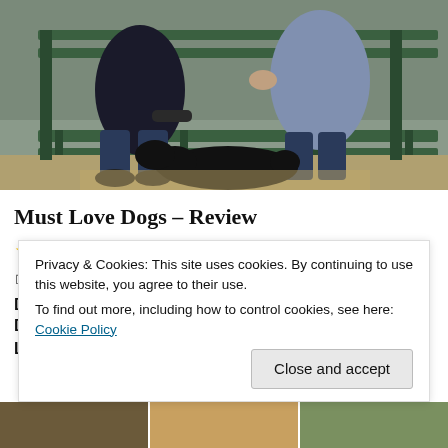[Figure (photo): Two people sitting on a green park bench with a large black dog lying on the ground between them. The man on the left wears dark clothing and jeans. The woman on the right wears a grey-blue jacket.]
Must Love Dogs – Review
★★★☆☆ (3 out of 5 stars)
16th September 2005   Jason Korsner
DIRECTED BY: Gary David Goldberg – FEATURING: Diane Lane, John Cusack, Christopher Plummer, Dermot…
Privacy & Cookies: This site uses cookies. By continuing to use this website, you agree to their use.
To find out more, including how to control cookies, see here: Cookie Policy
Close and accept
[Figure (photo): Bottom photo strip showing partial images]